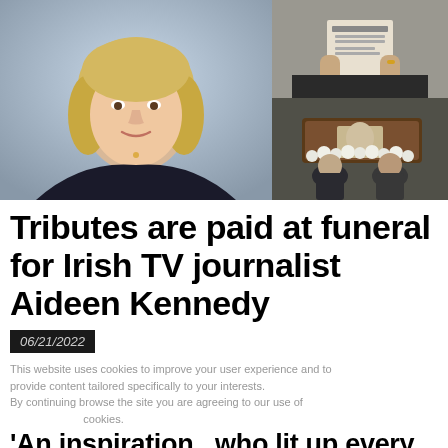[Figure (photo): Three photos: left - portrait photo of blonde woman in black clothing against blue background; top right - person holding a memorial card/program; bottom right - mourners at a funeral with coffin and white flowers]
Tributes are paid at funeral for Irish TV journalist Aideen Kennedy
06/21/2022
This website uses cookies to improve your user experience and to provide content tailored specifically to your interests. By continuing browse the site you are agreeing to our use of cookies.
'An inspiration.. who lit up every room': Tributes are paid at funeral for Irish TV journalist and mother-of-two Aideen Kennedy as she is